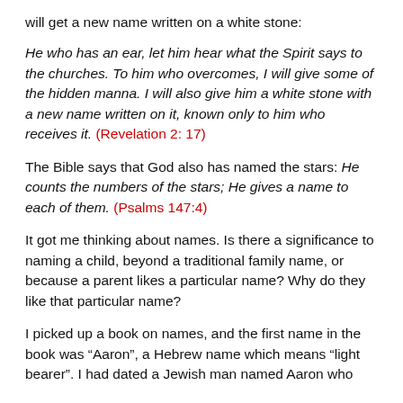will get a new name written on a white stone:
He who has an ear, let him hear what the Spirit says to the churches. To him who overcomes, I will give some of the hidden manna. I will also give him a white stone with a new name written on it, known only to him who receives it. (Revelation 2: 17)
The Bible says that God also has named the stars: He counts the numbers of the stars; He gives a name to each of them. (Psalms 147:4)
It got me thinking about names. Is there a significance to naming a child, beyond a traditional family name, or because a parent likes a particular name? Why do they like that particular name?
I picked up a book on names, and the first name in the book was “Aaron”, a Hebrew name which means “light bearer”. I had dated a Jewish man named Aaron who